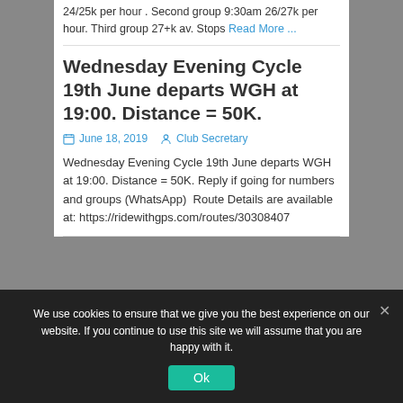24/25k per hour .  Second group 9:30am 26/27k per hour.  Third group 27+k av.  Stops Read More ...
Wednesday Evening Cycle 19th June departs WGH at 19:00. Distance = 50K.
June 18, 2019  Club Secretary
Wednesday Evening Cycle 19th June departs WGH at 19:00. Distance = 50K. Reply if going for numbers and groups (WhatsApp)  Route Details are available at: https://ridewithgps.com/routes/30308407
We use cookies to ensure that we give you the best experience on our website. If you continue to use this site we will assume that you are happy with it.